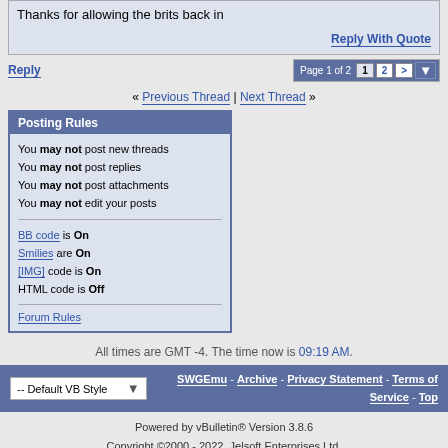Thanks for allowing the brits back in
Reply With Quote
Reply | Page 1 of 2  1  2  >
« Previous Thread | Next Thread »
Posting Rules
You may not post new threads
You may not post replies
You may not post attachments
You may not edit your posts
BB code is On
Smilies are On
[IMG] code is On
HTML code is Off
Forum Rules
All times are GMT -4. The time now is 09:19 AM.
-- Default VB Style
SWGEmu - Archive - Privacy Statement - Terms of Service - Top
Powered by vBulletin® Version 3.8.6
Copyright ©2000 - 2022, Jelsoft Enterprises Ltd.
All Contents Copyright © 2004-2010, SWGEmu.